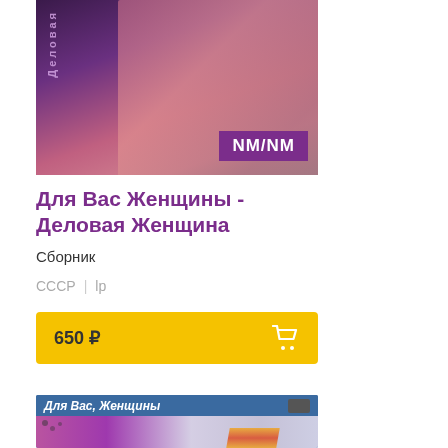[Figure (photo): Book cover photo of 'Для Вас Женщины - Деловая Женщина' with NM/NM condition badge in purple]
Для Вас Женщины - Деловая Женщина
Сборник
СССР  |  lp
650 ₽
[Figure (photo): Book cover photo of 'Для Вас, Женщины' with colorful graphic design showing circles and stripes]